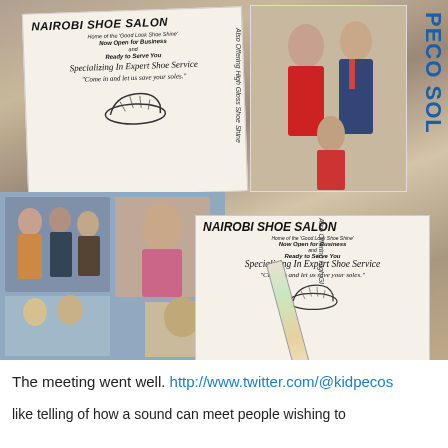[Figure (photo): A collage of printed flyers for 'Nairobi Shoe Salon' and personal photographs of people, with two copies of the flyer visible. The flyer reads: NAIROBI SHOE SALON, Home of the 'Good Look Shoe Shine', Now Open for Business and Ready to Serve You, Specializing In Expert Shoe Service, 'Come in and let us save your soles.' Also Offering High Gloss Shoe shine. Text PECO SOL visible on the right side. Photos show various people in the background.]
The meeting went well. http://www.twitter.com/@kidpecos
like telling of how a sound can meet people wishing to